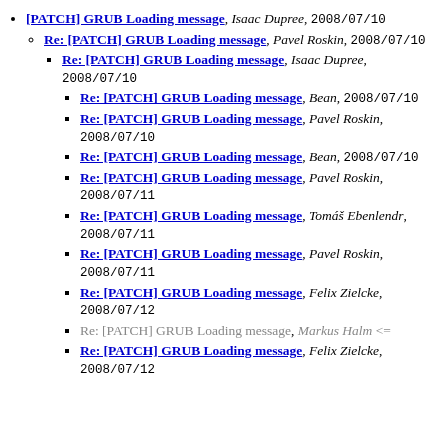[PATCH] GRUB Loading message, Isaac Dupree, 2008/07/10
Re: [PATCH] GRUB Loading message, Pavel Roskin, 2008/07/10
Re: [PATCH] GRUB Loading message, Isaac Dupree, 2008/07/10
Re: [PATCH] GRUB Loading message, Bean, 2008/07/10
Re: [PATCH] GRUB Loading message, Pavel Roskin, 2008/07/10
Re: [PATCH] GRUB Loading message, Bean, 2008/07/10
Re: [PATCH] GRUB Loading message, Pavel Roskin, 2008/07/11
Re: [PATCH] GRUB Loading message, Tomáš Ebenlendr, 2008/07/11
Re: [PATCH] GRUB Loading message, Pavel Roskin, 2008/07/11
Re: [PATCH] GRUB Loading message, Felix Zielcke, 2008/07/12
Re: [PATCH] GRUB Loading message, Markus Halm <=
Re: [PATCH] GRUB Loading message, Felix Zielcke, 2008/07/12